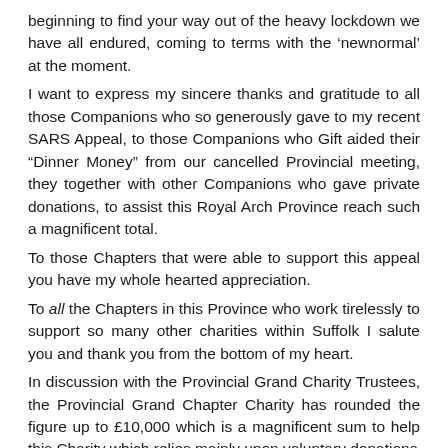beginning to find your way out of the heavy lockdown we have all endured, coming to terms with the ‘newnormal’ at the moment.
I want to express my sincere thanks and gratitude to all those Companions who so generously gave to my recent SARS Appeal, to those Companions who Gift aided their “Dinner Money” from our cancelled Provincial meeting, they together with other Companions who gave private donations, to assist this Royal Arch Province reach such a magnificent total.
To those Chapters that were able to support this appeal you have my whole hearted appreciation.
To all the Chapters in this Province who work tirelessly to support so many other charities within Suffolk I salute you and thank you from the bottom of my heart.
In discussion with the Provincial Grand Charity Trustees, the Provincial Grand Chapter Charity has rounded the figure up to £10,000 which is a magnificent sum to help this Charity which relies mainly upon voluntary donations